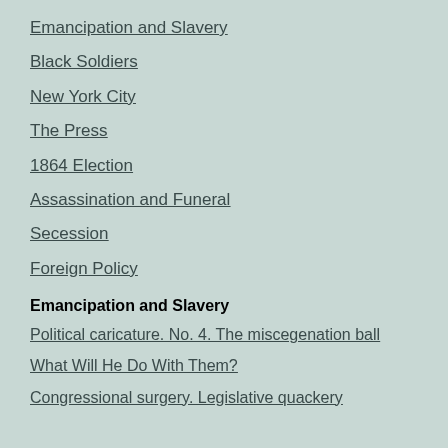Emancipation and Slavery
Black Soldiers
New York City
The Press
1864 Election
Assassination and Funeral
Secession
Foreign Policy
Emancipation and Slavery
Political caricature. No. 4. The miscegenation ball
What Will He Do With Them?
Congressional surgery. Legislative quackery